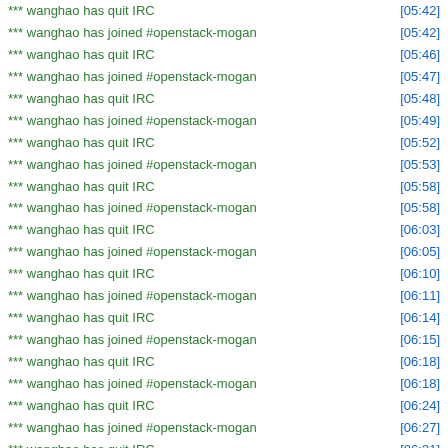*** wanghao has quit IRC [05:42]
*** wanghao has joined #openstack-mogan [05:42]
*** wanghao has quit IRC [05:46]
*** wanghao has joined #openstack-mogan [05:47]
*** wanghao has quit IRC [05:48]
*** wanghao has joined #openstack-mogan [05:49]
*** wanghao has quit IRC [05:52]
*** wanghao has joined #openstack-mogan [05:53]
*** wanghao has quit IRC [05:58]
*** wanghao has joined #openstack-mogan [05:58]
*** wanghao has quit IRC [06:03]
*** wanghao has joined #openstack-mogan [06:05]
*** wanghao has quit IRC [06:10]
*** wanghao has joined #openstack-mogan [06:11]
*** wanghao has quit IRC [06:14]
*** wanghao has joined #openstack-mogan [06:15]
*** wanghao has quit IRC [06:18]
*** wanghao has joined #openstack-mogan [06:18]
*** wanghao has quit IRC [06:24]
*** wanghao has joined #openstack-mogan [06:27]
*** wanghao has quit IRC [06:31]
*** wanghao has joined #openstack-mogan [06:33]